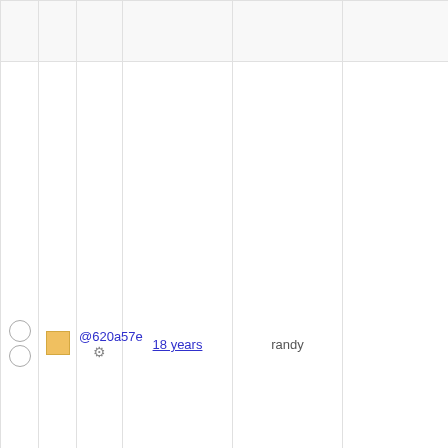|  |  |  | commit | age | author | tags/branches |
| --- | --- | --- | --- | --- | --- | --- |
|  |  |  |  |  |  | xry111/intltoo...
xry111/test-2... |
| ○ ○ | ■ | @620a57e ⚙ | 18 years | randy | Added kernel_head..patch to Inet..build using L..2.6.x; ... 10...
10.1 11.0
11.2 6.0
6.2 6.2.0
rc1 6.2.0-rc2...
6.3-rc1 6.3...
6.3-rc3 7.1...
7.5 7.6 7...
7.6-systemd
7.8 7.9 8...
8.1 8.2 8...
8.4 9.0 9...
basic bdub...
elogind gn...
kde5-13430
14269 kde5-...
krejzi/svn l...
nosym per...
modules qt5...
systemd-111...
systemd-134...
trunk upgra...
xry111/intltoo...
xry111/test-... |